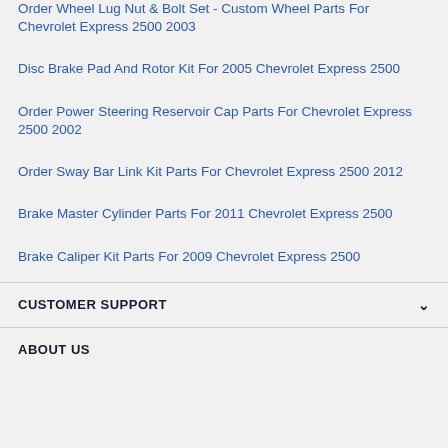Order Wheel Lug Nut & Bolt Set - Custom Wheel Parts For Chevrolet Express 2500 2003
Disc Brake Pad And Rotor Kit For 2005 Chevrolet Express 2500
Order Power Steering Reservoir Cap Parts For Chevrolet Express 2500 2002
Order Sway Bar Link Kit Parts For Chevrolet Express 2500 2012
Brake Master Cylinder Parts For 2011 Chevrolet Express 2500
Brake Caliper Kit Parts For 2009 Chevrolet Express 2500
CUSTOMER SUPPORT
ABOUT US